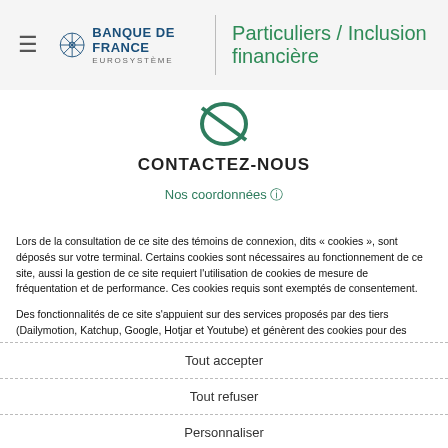Banque de France Eurosystème — Particuliers / Inclusion financière
CONTACTEZ-NOUS
Nos coordonnées
Lors de la consultation de ce site des témoins de connexion, dits « cookies », sont déposés sur votre terminal. Certains cookies sont nécessaires au fonctionnement de ce site, aussi la gestion de ce site requiert l'utilisation de cookies de mesure de fréquentation et de performance. Ces cookies requis sont exemptés de consentement.
Des fonctionnalités de ce site s'appuient sur des services proposés par des tiers (Dailymotion, Katchup, Google, Hotjar et Youtube) et génèrent des cookies pour des finalités qui leur sont propres, conformément à leur politique de confidentialité.
Si vous ne cliquez pas sur "Tout accepter", seul les cookies requis seront utilisés. Le module de gestion des cookies vous permet de donner ou de retirer votre consentement, soit globalement soit finalité par finalité. Vous pouvez retrouver ce module à tout moment en cliquant sur l'onglet "Centre de confidentialité" en bas de page. Vos préférences sont conservées pour une durée de 6 mois. Elles ne sont pas cédées à des tiers ni utilisées à d'autres fins.
Tout accepter
Tout refuser
Personnaliser